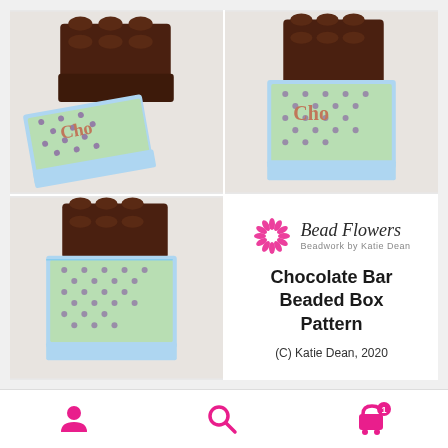[Figure (photo): Top-left: beaded chocolate bar box open, showing brown beaded top piece and blue/green patterned beaded wrapper with 'Cho' text]
[Figure (photo): Top-right: beaded chocolate bar closed in wrapper, brown beaded chocolate bar visible at top, blue/green patterned wrapper below]
[Figure (photo): Bottom-left: beaded chocolate bar in wrapper, side view, brown beaded bar peeking out top of blue/green diamond-pattern beaded wrapper]
[Figure (illustration): Bottom-right info panel: Bead Flowers logo (flower icon + italic script text 'Bead Flowers', 'Beadwork by Katie Dean'), product title 'Chocolate Bar Beaded Box Pattern', copyright '(C) Katie Dean, 2020']
Chocolate Bar Beaded Box Pattern
(C) Katie Dean, 2020
Navigation bar with person icon, search icon, and cart icon with badge '1'